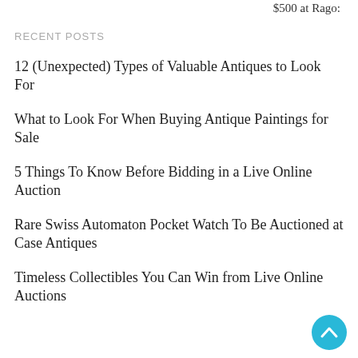$500 at Rago:
RECENT POSTS
12 (Unexpected) Types of Valuable Antiques to Look For
What to Look For When Buying Antique Paintings for Sale
5 Things To Know Before Bidding in a Live Online Auction
Rare Swiss Automaton Pocket Watch To Be Auctioned at Case Antiques
Timeless Collectibles You Can Win from Live Online Auctions